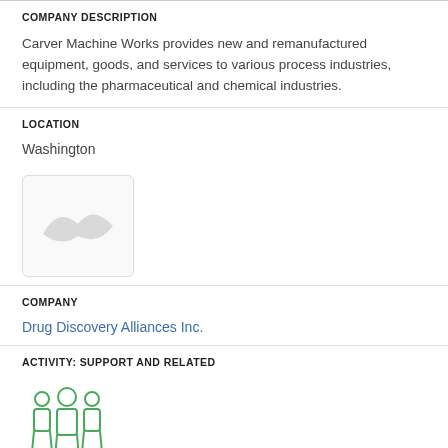COMPANY DESCRIPTION
Carver Machine Works provides new and remanufactured equipment, goods, and services to various process industries, including the pharmaceutical and chemical industries.
LOCATION
Washington
[Figure (logo): Placeholder company logo image in a rounded rectangle box with a light gray bird/dove silhouette]
COMPANY
Drug Discovery Alliances Inc.
ACTIVITY: SUPPORT AND RELATED
[Figure (illustration): Green outline icon of three people standing together (group/team icon)]